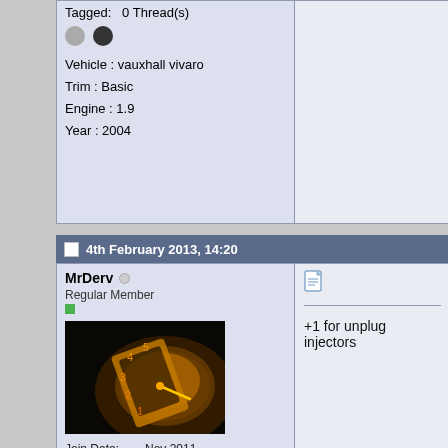Tagged: 0 Thread(s)
Vehicle : vauxhall vivaro
Trim : Basic
Engine : 1.9
Year : 2004
4th February 2013, 14:20
MrDerv
Regular Member
[Figure (photo): Avatar image showing a glowing speedometer with orange lighting on a dark background]
Join Date: Nov 2011
Location: North East (Beamish)
Post Thanks / Like
Mentioned: 0 Post(s)
+1 for unplug injectors